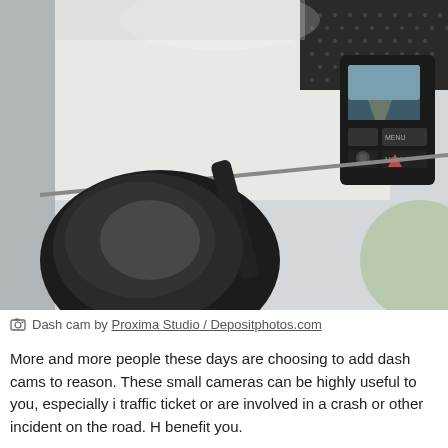[Figure (photo): Close-up interior photo of a car windshield area showing a dash cam mounted near the rearview mirror. The dash cam has a small screen displaying a road scene, with buttons labeled MENU visible. The rearview mirror is visible in the foreground, slightly blurred.]
Dash cam by Proxima Studio / Depositphotos.com
More and more people these days are choosing to add dash cams to reason. These small cameras can be highly useful to you, especially i traffic ticket or are involved in a crash or other incident on the road. H benefit you.